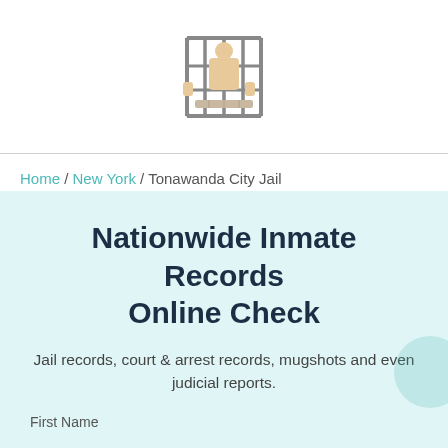[Figure (logo): Jail bars icon with hands gripping bars, colored in teal/gray outline with tan/beige figure behind bars]
Home / New York / Tonawanda City Jail
Nationwide Inmate Records Online Check
Jail records, court & arrest records, mugshots and even judicial reports.
First Name